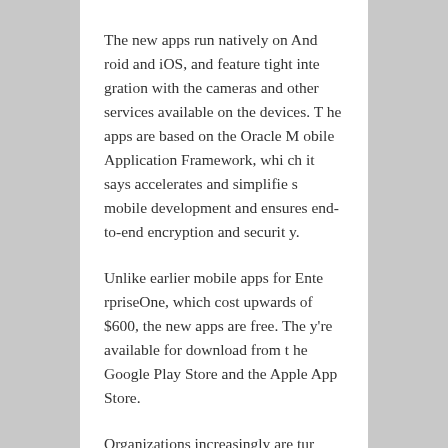The new apps run natively on Android and iOS, and feature tight integration with the cameras and other services available on the devices. The apps are based on the Oracle Mobile Application Framework, which it says accelerates and simplifies mobile development and ensures end-to-end encryption and security.
Unlike earlier mobile apps for EnterpriseOne, which cost upwards of $600, the new apps are free. They're available for download from the Google Play Store and the Apple App Store.
Organizations increasingly are turning to mobile apps to accelerate business execution and realize new operational efficiencies, says Lyle